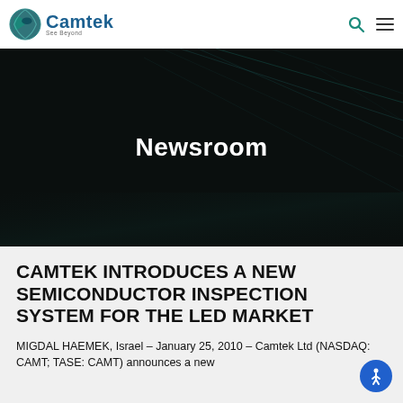[Figure (logo): Camtek logo with globe icon and 'See Beyond' tagline]
Newsroom
CAMTEK INTRODUCES A NEW SEMICONDUCTOR INSPECTION SYSTEM FOR THE LED MARKET
MIGDAL HAEMEK, Israel – January 25, 2010 – Camtek Ltd (NASDAQ: CAMT; TASE: CAMT) announces a new...